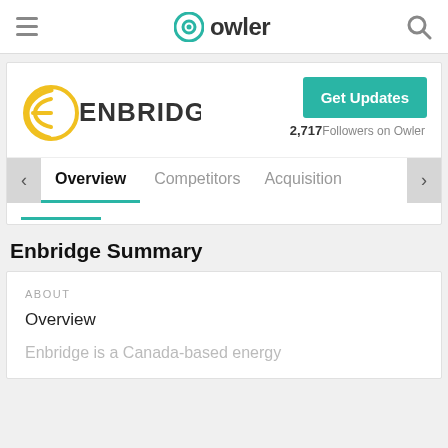owler
[Figure (logo): Enbridge company logo — yellow 'e' swirl with ENBRIDGE text in dark grey]
Get Updates
2,717 Followers on Owler
Overview  Competitors  Acquisition
Enbridge Summary
ABOUT
Overview
Enbridge is a Canada-based energy